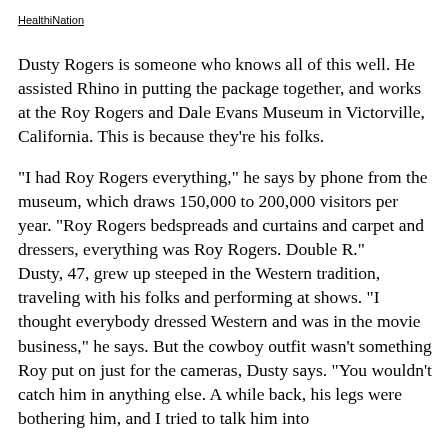HealthiNation
Dusty Rogers is someone who knows all of this well. He assisted Rhino in putting the package together, and works at the Roy Rogers and Dale Evans Museum in Victorville, California. This is because they're his folks.
"I had Roy Rogers everything," he says by phone from the museum, which draws 150,000 to 200,000 visitors per year. "Roy Rogers bedspreads and curtains and carpet and dressers, everything was Roy Rogers. Double R."
Dusty, 47, grew up steeped in the Western tradition, traveling with his folks and performing at shows. "I thought everybody dressed Western and was in the movie business," he says. But the cowboy outfit wasn't something Roy put on just for the cameras, Dusty says. "You wouldn't catch him in anything else. A while back, his legs were bothering him, and I tried to talk him into